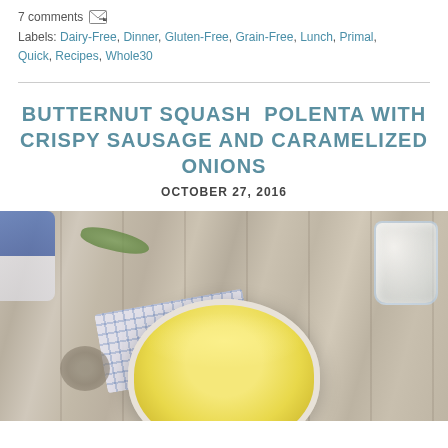7 comments
Labels: Dairy-Free, Dinner, Gluten-Free, Grain-Free, Lunch, Primal, Quick, Recipes, Whole30
BUTTERNUT SQUASH POLENTA WITH CRISPY SAUSAGE AND CARAMELIZED ONIONS
OCTOBER 27, 2016
[Figure (photo): Overhead photo of a bowl of butternut squash polenta with crispy sausage on a rustic wooden table, with a blue checkered cloth, glass of water, and herb sprig]